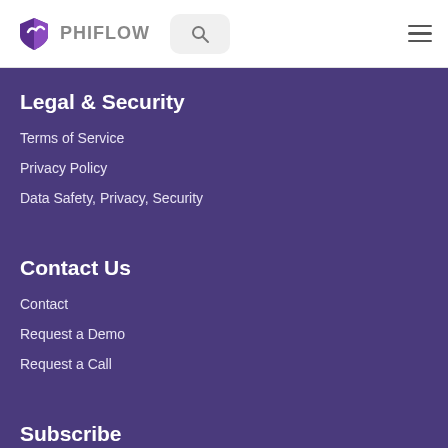PHIFLOW
Legal & Security
Terms of Service
Privacy Policy
Data Safety, Privacy, Security
Contact Us
Contact
Request a Demo
Request a Call
Subscribe